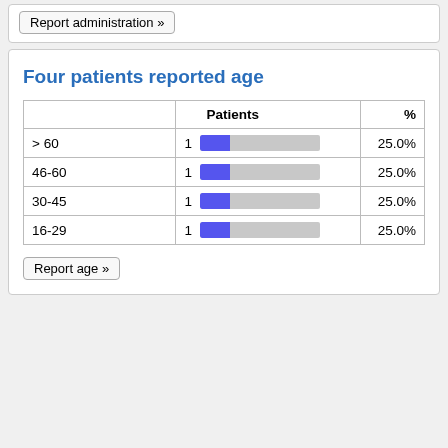Report administration »
Four patients reported age
|  | Patients | % |
| --- | --- | --- |
| > 60 | 1  [bar 25%] | 25.0% |
| 46-60 | 1  [bar 25%] | 25.0% |
| 30-45 | 1  [bar 25%] | 25.0% |
| 16-29 | 1  [bar 25%] | 25.0% |
Report age »